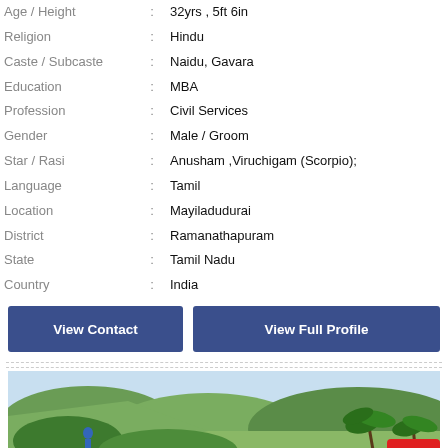| Age / Height | : | 32yrs , 5ft 6in |
| Religion | : | Hindu |
| Caste / Subcaste | : | Naidu, Gavara |
| Education | : | MBA |
| Profession | : | Civil Services |
| Gender | : | Male / Groom |
| Star / Rasi | : | Anusham ,Viruchigam (Scorpio); |
| Language | : | Tamil |
| Location | : | Mayiladudurai |
| District | : | Ramanathapuram |
| State | : | Tamil Nadu |
| Country | : | India |
View Contact
View Full Profile
[Figure (photo): Outdoor landscape photo showing a hillside with green vegetation, a person in blue, palm trees, and sky in the background. A red 'Top' button appears in the bottom-right corner.]